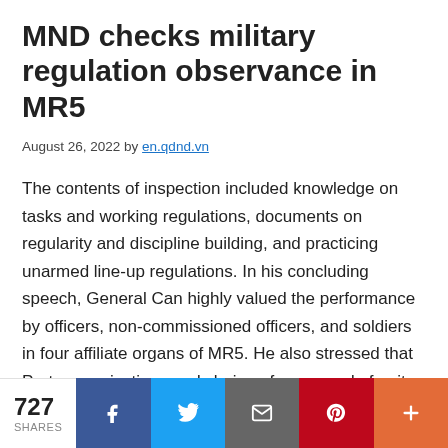MND checks military regulation observance in MR5
August 26, 2022 by en.qdnd.vn
The contents of inspection included knowledge on tasks and working regulations, documents on regularity and discipline building, and practicing unarmed line-up regulations. In his concluding speech, General Can highly valued the performance by officers, non-commissioned officers, and soldiers in four affiliate organs of MR5. He also stressed that Party organizations and chains-of-command of units under MR5 should further boost the quality